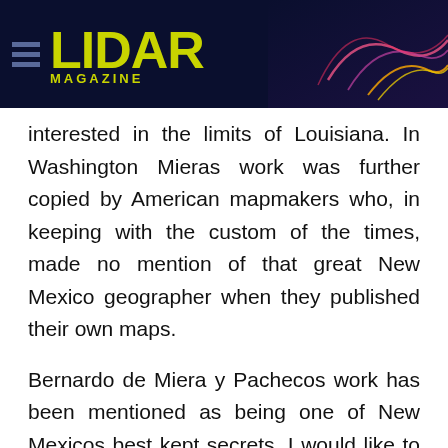LIDAR MAGAZINE
interested in the limits of Louisiana. In Washington Mieras work was further copied by American mapmakers who, in keeping with the custom of the times, made no mention of that great New Mexico geographer when they published their own maps.
Bernardo de Miera y Pachecos work has been mentioned as being one of New Mexicos best kept secrets. I would like to see the members of the surveying profession of this State to lift the vail from this secrecy, to point with pride to our 250-year-old mapping tradition, and to remember a true New Mexico pioneer.